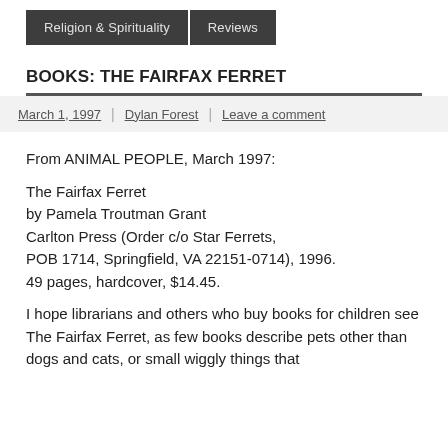Religion & Spirituality   Reviews
BOOKS: THE FAIRFAX FERRET
March 1, 1997 | Dylan Forest | Leave a comment
From ANIMAL PEOPLE, March 1997:

The Fairfax Ferret
by Pamela Troutman Grant
Carlton Press (Order c/o Star Ferrets,
POB 1714, Springfield, VA 22151-0714), 1996.
49 pages, hardcover, $14.45.

I hope librarians and others who buy books for children see The Fairfax Ferret, as few books describe pets other than dogs and cats, or small wiggly things that are therefore difficult to care for. Fish and birds...